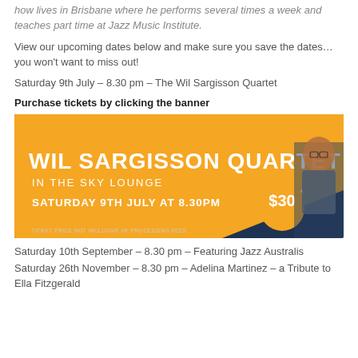how lives in Brisbane where he performs several times a week and teaches part time at Jazz Music Institute.
View our upcoming dates below and make sure you save the dates…you won't want to miss out!
Saturday 9th July – 8.30 pm – The Wil Sargisson Quartet
Purchase tickets by clicking the banner
[Figure (infographic): Promotional banner for the Wil Sargisson Quartet performance in the Sky Lounge on Saturday 9th July at 8.30pm, tickets $30.]
Saturday 10th September – 8.30 pm – Featuring Jazz Australis
Saturday 26th November – 8.30 pm – Adelina Martinez – a Tribute to Ella Fitzgerald